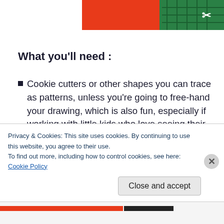[Figure (photo): Partial photo showing red and green background, appears to be a craft activity scene]
What you'll need :
Cookie cutters or other shapes you can trace as patterns, unless you're going to free-hand your drawing, which is also fun, especially if working with little kids who love seeing their drawings “come to life”.
Privacy & Cookies: This site uses cookies. By continuing to use this website, you agree to their use.
To find out more, including how to control cookies, see here: Cookie Policy
Close and accept